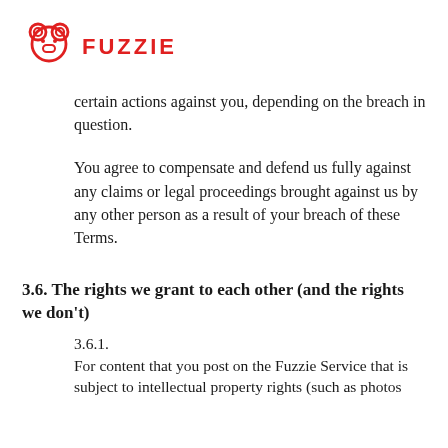[Figure (logo): Fuzzie logo with bear icon in red and red uppercase text FUZZIE]
certain actions against you, depending on the breach in question.
You agree to compensate and defend us fully against any claims or legal proceedings brought against us by any other person as a result of your breach of these Terms.
3.6. The rights we grant to each other (and the rights we don't)
3.6.1.
For content that you post on the Fuzzie Service that is subject to intellectual property rights (such as photos